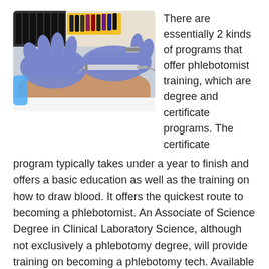[Figure (photo): Gloved hands drawing blood from a patient's arm with a syringe, medical laboratory tubes visible in background]
There are essentially 2 kinds of programs that offer phlebotomist training, which are degree and certificate programs. The certificate program typically takes under a year to finish and offers a basic education as well as the training on how to draw blood. It offers the quickest route to becoming a phlebotomist. An Associate of Science Degree in Clinical Laboratory Science, although not exclusively a phlebotomy degree, will provide training on becoming a phlebotomy tech. Available at junior and community colleges, they normally require 2 years to complete. Bachelor's Degrees are not as available and as a four year program offer a more expansive background in lab